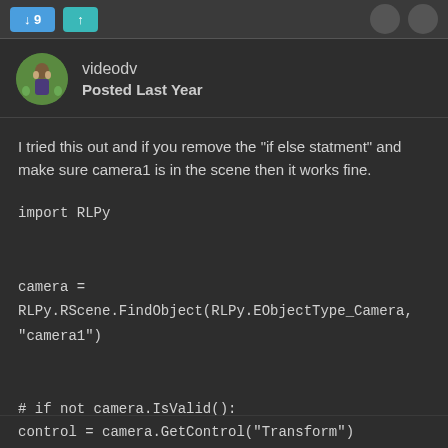videodv / Posted Last Year
I tried this out and if you remove the "if else statment" and make sure camera1 is in the scene then it works fine.
import RLPy

camera = RLPy.RScene.FindObject(RLPy.EObjectType_Camera, "camera1")

# if not camera.IsValid():
    # log_label.setText("camera is not available")
# else:
    # log_label.setText("camera is available")

control = camera.GetControl("Transform")